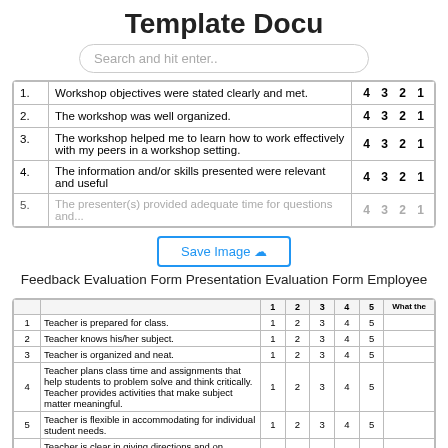Template Docu
Search and hit enter..
| # | Item | Rating |
| --- | --- | --- |
| 1. | Workshop objectives were stated clearly and met. | 4  3  2  1 |
| 2. | The workshop was well organized. | 4  3  2  1 |
| 3. | The workshop helped me to learn how to work effectively with my peers in a workshop setting. | 4  3  2  1 |
| 4. | The information and/or skills presented were relevant and useful | 4  3  2  1 |
| 5. | The presenter(s) provided adequate time for questions and... | 4  3  2  1 |
Feedback Evaluation Form Presentation Evaluation Form Employee
| # | Description | 1 | 2 | 3 | 4 | 5 | What the |
| --- | --- | --- | --- | --- | --- | --- | --- |
| 1 | Teacher is prepared for class. | 1 | 2 | 3 | 4 | 5 |  |
| 2 | Teacher knows his/her subject. | 1 | 2 | 3 | 4 | 5 |  |
| 3 | Teacher is organized and neat. | 1 | 2 | 3 | 4 | 5 |  |
| 4 | Teacher plans class time and assignments that help students to problem solve and think critically. Teacher provides activities that make subject matter meaningful. | 1 | 2 | 3 | 4 | 5 |  |
| 5 | Teacher is flexible in accommodating for individual student needs. | 1 | 2 | 3 | 4 | 5 |  |
| 6 | Teacher is clear in giving directions and on explaining what is expected on assignments and tests. | 1 | 2 | 3 | 4 | 5 |  |
| 7 | Teacher allows you to be active in the classroom learning | 1 | 2 | 3 | 4 | 5 |  |